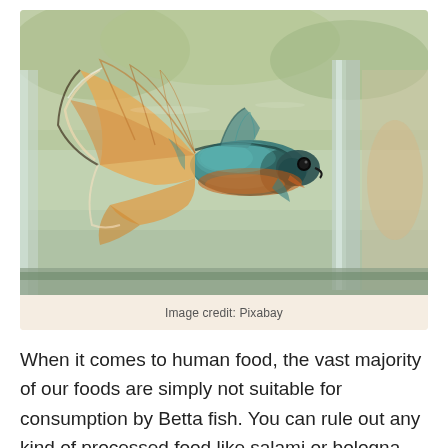[Figure (photo): A colorful Betta fish with orange, cream, and teal fins swimming in a glass aquarium tank, photographed against a blurred outdoor background.]
Image credit: Pixabay
When it comes to human food, the vast majority of our foods are simply not suitable for consumption by Betta fish. You can rule out any kind of processed food like salami or bologna.